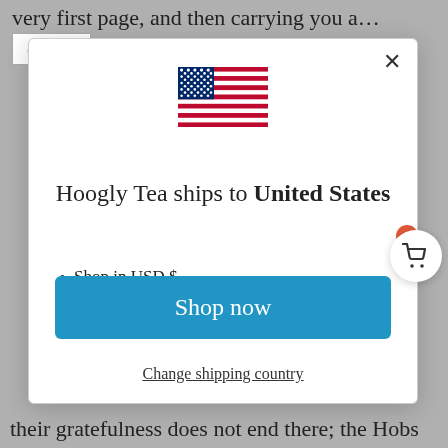very first page, and then carrying you a…   cpp…
[Figure (screenshot): Modal dialog on a website showing Hoogly Tea ships to United States with US flag, bullet points, Shop now button, and Change shipping country link]
their gratefulness does not end there; the Hobs